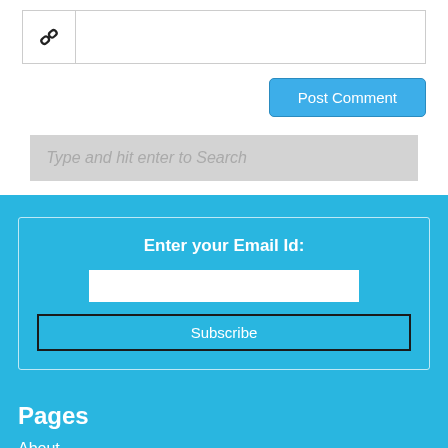[Figure (screenshot): URL/link icon input field with chain-link icon on the left and an empty text input on the right]
Post Comment
Type and hit enter to Search
Enter your Email Id:
Subscribe
Pages
About